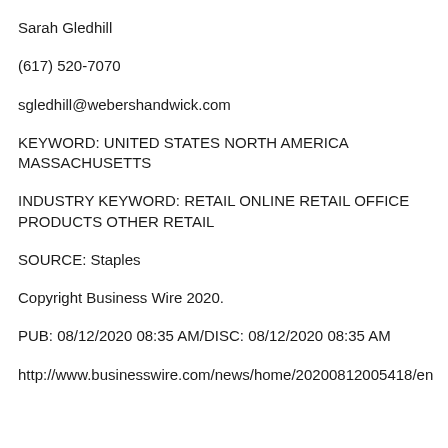Sarah Gledhill
(617) 520-7070
sgledhill@webershandwick.com
KEYWORD: UNITED STATES NORTH AMERICA MASSACHUSETTS
INDUSTRY KEYWORD: RETAIL ONLINE RETAIL OFFICE PRODUCTS OTHER RETAIL
SOURCE: Staples
Copyright Business Wire 2020.
PUB: 08/12/2020 08:35 AM/DISC: 08/12/2020 08:35 AM
http://www.businesswire.com/news/home/20200812005418/en